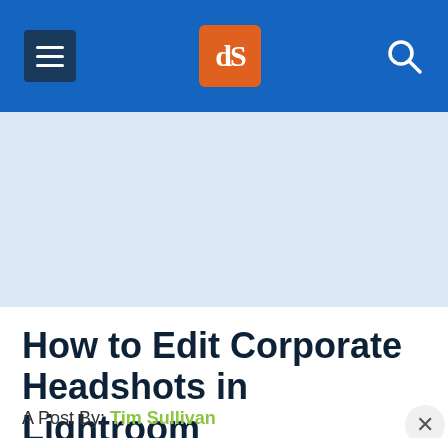dPS navigation header with hamburger menu, dPS logo, and search icon
[Figure (other): Light blue banner/advertisement placeholder area]
How to Edit Corporate Headshots in Lightroom
A Post By: Tim Sullivan